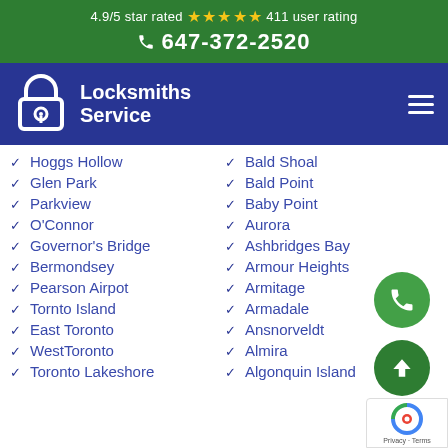4.9/5 star rated ★★★★★ 411 user rating
☎ 647-372-2520
Locksmiths Service
Hoggs Hollow
Bald Shoal
Glen Park
Bald Point
Parkview
Baby Point
O'Connor
Aurora
Governor's Bridge
Ashbridges Bay
Bermondsey
Armour Heights
Pearson Airpot
Armitage
Tornto Island
Armadale
East Toronto
Ansnorveldt
WestToronto
Almira
Toronto Lakeshore
Algonquin Island